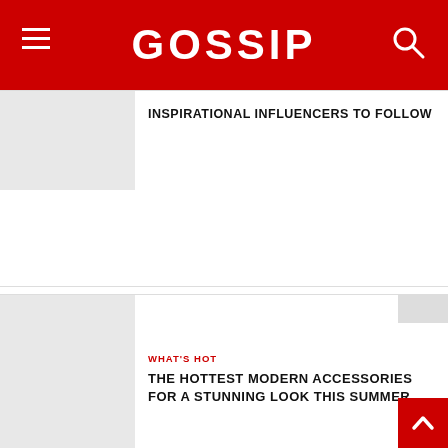GOSSIP
INSPIRATIONAL INFLUENCERS TO FOLLOW
WHAT'S HOT
THE HOTTEST MODERN ACCESSORIES FOR A STUNNING LOOK THIS SUMMER
WHAT'S HOT
THE BEST WAYS TO NATURALLY SHOW OFF YOUR GORGEOUS WORKED BODY